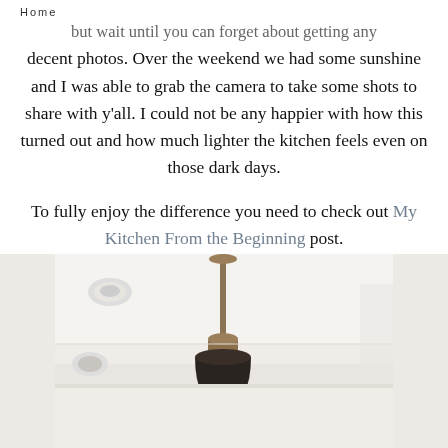Home
...but wait until you can forget about getting any decent photos. Over the weekend we had some sunshine and I was able to grab the camera to take some shots to share with y'all. I could not be any happier with how this turned out and how much lighter the kitchen feels even on those dark days.

To fully enjoy the difference you need to check out My Kitchen From the Beginning post.

So come on in and let's tour the new kitchen!
[Figure (photo): Kitchen interior photo showing a pendant light with brass/bronze hardware hanging from a white ceiling, with recessed lighting visible]